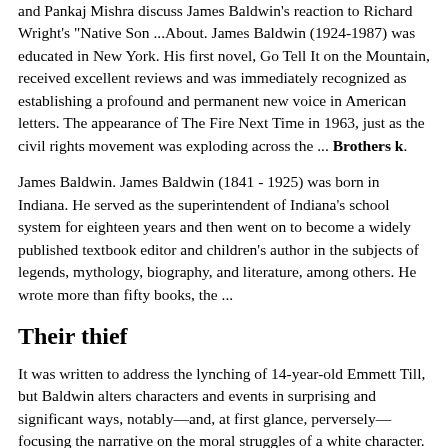and Pankaj Mishra discuss James Baldwin's reaction to Richard Wright's "Native Son ...About. James Baldwin (1924-1987) was educated in New York. His first novel, Go Tell It on the Mountain, received excellent reviews and was immediately recognized as establishing a profound and permanent new voice in American letters. The appearance of The Fire Next Time in 1963, just as the civil rights movement was exploding across the ... Brothers k.
James Baldwin. James Baldwin (1841 - 1925) was born in Indiana. He served as the superintendent of Indiana's school system for eighteen years and then went on to become a widely published textbook editor and children's author in the subjects of legends, mythology, biography, and literature, among others. He wrote more than fifty books, the ...
Their thief
It was written to address the lynching of 14-year-old Emmett Till, but Baldwin alters characters and events in surprising and significant ways, notably—and, at first glance, perversely—focusing the narrative on the moral struggles of a white character. This week we discuss Baldwin's aims in making these choices, and how they come across ...
From James Baldwin, James at "The...